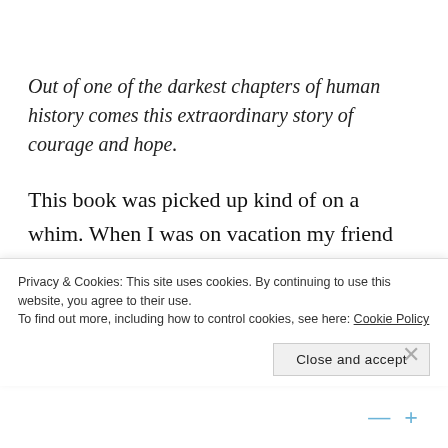Out of one of the darkest chapters of human history comes this extraordinary story of courage and hope.
This book was picked up kind of on a whim. When I was on vacation my friend kept talking about it, and then my sister in law had also started gushing about it (and she hadn't even had the chance to finish it yet). So I filed it away to remember to grab it if I saw it at some
Privacy & Cookies: This site uses cookies. By continuing to use this website, you agree to their use.
To find out more, including how to control cookies, see here: Cookie Policy
Close and accept